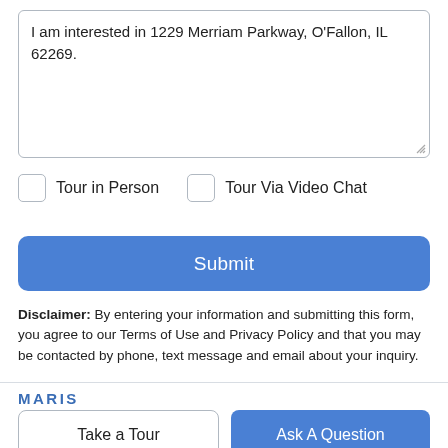I am interested in 1229 Merriam Parkway, O'Fallon, IL 62269.
Tour in Person
Tour Via Video Chat
Submit
Disclaimer: By entering your information and submitting this form, you agree to our Terms of Use and Privacy Policy and that you may be contacted by phone, text message and email about your inquiry.
MARIS
Take a Tour
Ask A Question